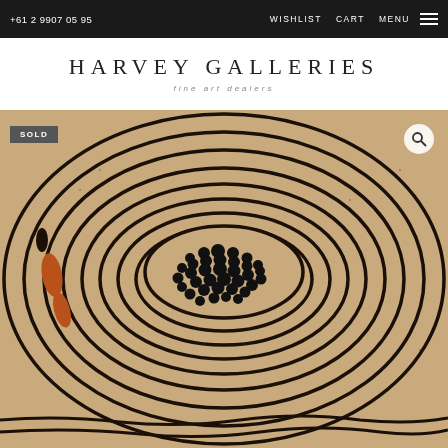+61 2 9907 05 95   WISHLIST   CART   MENU
HARVEY GALLERIES
fine art dealers
[Figure (photo): Close-up of an Australian Aboriginal artwork featuring concentric oval/circular lines in black on a sandy beige background, with a central oval filled with black dots/spots. Orange-red elongated shapes appear on the left side. The painting depicts traditional dot and line patterns typical of Western Desert Aboriginal art. A 'SOLD' badge is visible in the top-left corner and a search icon in the top-right.]